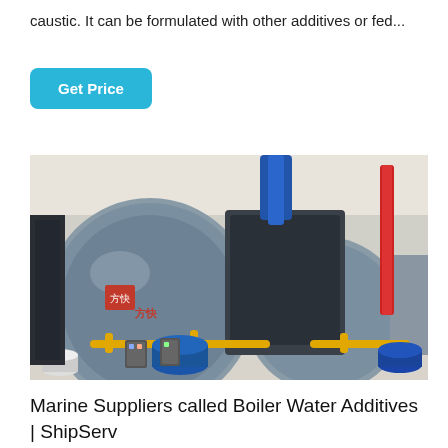caustic. It can be formulated with other additives or fed...
Get Price
[Figure (photo): Industrial boilers in a manufacturing facility. Large cylindrical horizontal boilers with Chinese text markings (方快/Fangkuai brand), yellow gas pipes, blue drums, and red vertical pipes visible in a well-lit industrial space.]
Marine Suppliers called Boiler Water Additives | ShipServ